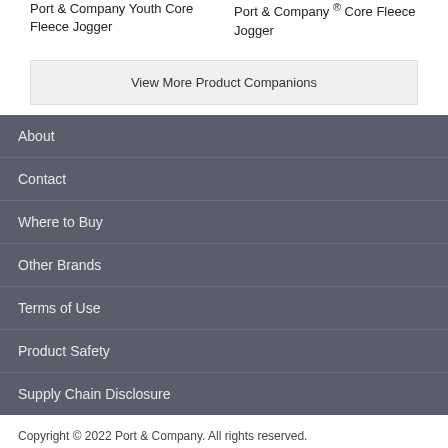Port & Company Youth Core Fleece Jogger
Port & Company ® Core Fleece Jogger
View More Product Companions
About
Contact
Where to Buy
Other Brands
Terms of Use
Product Safety
Supply Chain Disclosure
Copyright © 2022 Port & Company. All rights reserved.